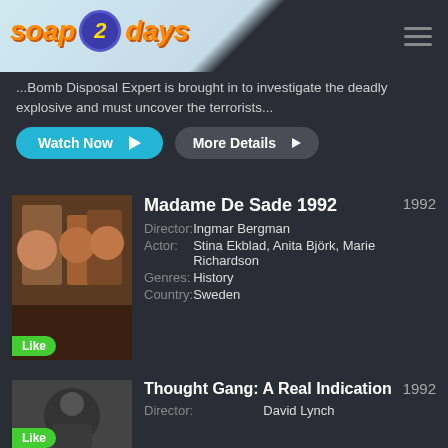soap 2 days
...Bomb Disposal Expert is brought in to investigate the deadly explosive and must uncover the terrorists...
Watch Now | More Details
Madame De Sade 1992
| Field | Value |
| --- | --- |
| Director: | Ingmar Bergman |
| Actor: | Stina Ekblad, Anita Björk, Marie Richardson |
| Genres: | History |
| Country: | Sweden |
Ingmar Bergmans staging at the Royal Dramatic Theatre Stockholm. While the Marquis De Sade is in prison on charges of crimes of gross perversion his faithful wife Renee awaits him. Despite all the horrors her husband has...
Watch Now | More Details
Thought Gang: A Real Indication 1992
| Field | Value |
| --- | --- |
| Director: | David Lynch |